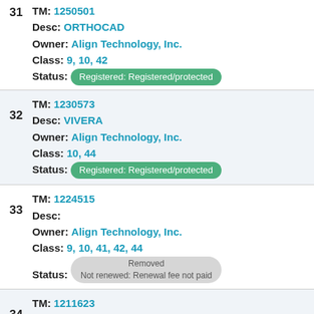31 TM: 1250501 Desc: ORTHOCAD Owner: Align Technology, Inc. Class: 9, 10, 42 Status: Registered: Registered/protected
32 TM: 1230573 Desc: VIVERA Owner: Align Technology, Inc. Class: 10, 44 Status: Registered: Registered/protected
33 TM: 1224515 Desc: Owner: Align Technology, Inc. Class: 9, 10, 41, 42, 44 Status: Removed Not renewed: Renewal fee not paid
34 TM: 1211623 Desc: NIGHTALIGN Owner: Align Technology, Inc. Class: 10 Status: Registered: Registered/protected
35 TM: 1209929 Desc: CLEAR TECHNIQUES